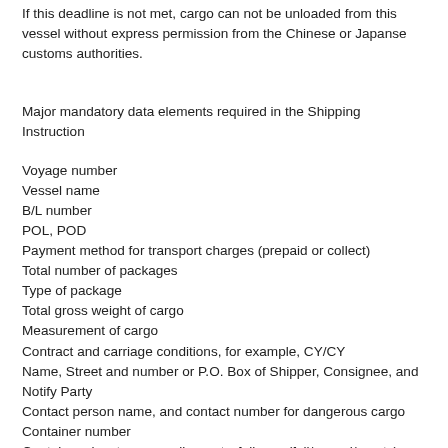If this deadline is not met, cargo can not be unloaded from this vessel without express permission from the Chinese or Japanse customs authorities.
Major mandatory data elements required in the Shipping Instruction
Voyage number
Vessel name
B/L number
POL, POD
Payment method for transport charges (prepaid or collect)
Total number of packages
Type of package
Total gross weight of cargo
Measurement of cargo
Contract and carriage conditions, for example, CY/CY
Name, Street and number or P.O. Box of Shipper, Consignee, and Notify Party
Contact person name, and contact number for dangerous cargo
Container number
Container size, type, supplier party, fullness (full/consol/empty)
Seal number